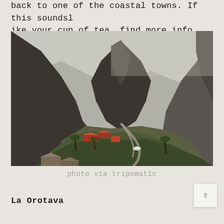back to one of the coastal towns. If this soundslike your cup of tea, find more info here.
[Figure (photo): Aerial view of a small mountain village (Masca, Tenerife) nestled in a dramatic rocky gorge with steep cliffs, palm trees and terracotta-roofed buildings on a ridge, with a winding road visible.]
photo via tripomatic
La Orotava